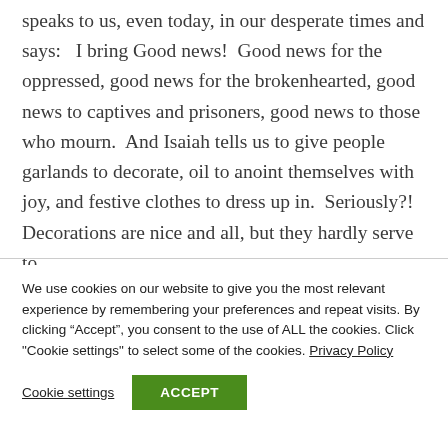speaks to us, even today, in our desperate times and says:   I bring Good news!  Good news for the oppressed, good news for the brokenhearted, good news to captives and prisoners, good news to those who mourn.  And Isaiah tells us to give people garlands to decorate, oil to anoint themselves with joy, and festive clothes to dress up in.  Seriously?!  Decorations are nice and all, but they hardly serve to
We use cookies on our website to give you the most relevant experience by remembering your preferences and repeat visits. By clicking “Accept”, you consent to the use of ALL the cookies. Click "Cookie settings" to select some of the cookies. Privacy Policy
Cookie settings   ACCEPT